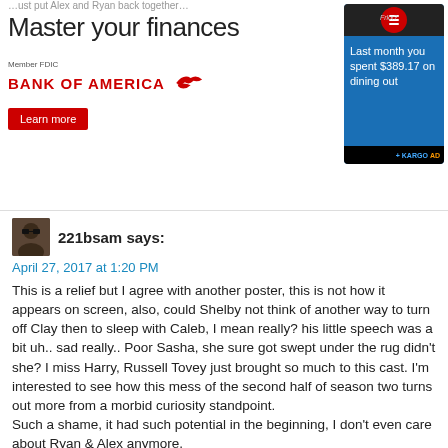[Figure (other): Bank of America advertisement banner: 'Master your finances' with Member FDIC text, Bank of America logo with eagle, red Learn more button, and a Kargo ad smartphone showing 'Last month you spent $389.17 on dining out']
221bsam says:
April 27, 2017 at 1:20 PM
This is a relief but I agree with another poster, this is not how it appears on screen, also, could Shelby not think of another way to turn off Clay then to sleep with Caleb, I mean really? his little speech was a bit uh.. sad really.. Poor Sasha, she sure got swept under the rug didn't she? I miss Harry, Russell Tovey just brought so much to this cast. I'm interested to see how this mess of the second half of season two turns out more from a morbid curiosity standpoint.
Such a shame, it had such potential in the beginning, I don't even care about Ryan & Alex anymore.
Reply